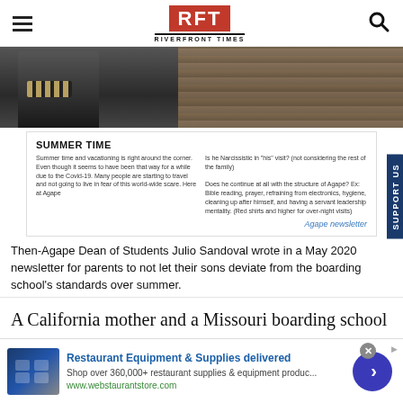RFT RIVERFRONT TIMES
[Figure (photo): Photo of a person in dark clothing with a belt, against a wooden background]
[Figure (screenshot): Agape newsletter screenshot showing 'SUMMER TIME' heading and newsletter text about summer vacationing and Covid-19, with right column asking questions about narcissistic visits and structure of Agape]
Then-Agape Dean of Students Julio Sandoval wrote in a May 2020 newsletter for parents to not let their sons deviate from the boarding school's standards over summer.
A California mother and a Missouri boarding school